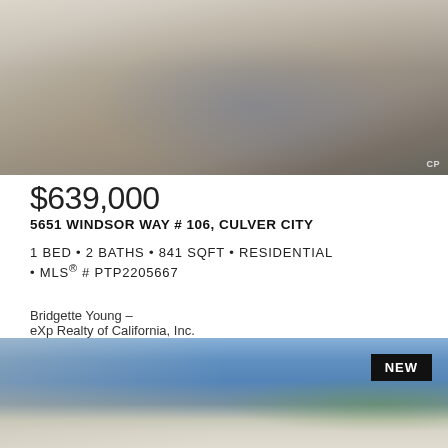[Figure (photo): Interior living room photo showing a gray sofa, decorative pillows, glass coffee tables, abstract rug, and a desk with office chair near a window with curtains]
$639,000
5651 WINDSOR WAY # 106, CULVER CITY
1 BED • 2 BATHS • 841 SQFT • RESIDENTIAL • MLS® # PTP2205667
Bridgette Young –
eXp Realty of California, Inc.
[Figure (photo): Exterior photo of a white modern home with black trim roof angles against a blue sky, with a palm tree visible on the right, tagged NEW]